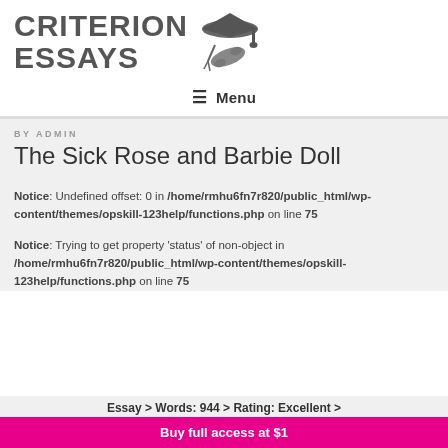[Figure (logo): Criterion Essays logo with graduation cap and scroll illustration]
≡ Menu
BY ADMIN
The Sick Rose and Barbie Doll
Notice: Undefined offset: 0 in /home/rmhu6fn7r820/public_html/wp-content/themes/opskill-123help/functions.php on line 75
Notice: Trying to get property 'status' of non-object in /home/rmhu6fn7r820/public_html/wp-content/themes/opskill-123help/functions.php on line 75
Essay > Words: 944 > Rating: Excellent >
Buy full access at $1